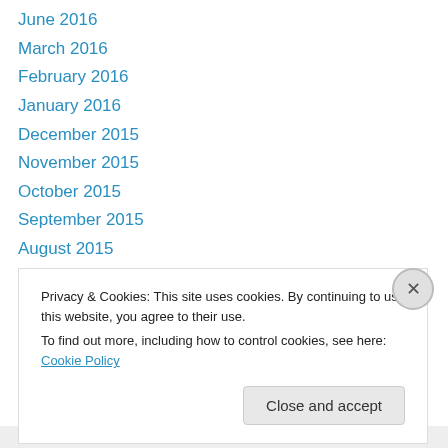June 2016
March 2016
February 2016
January 2016
December 2015
November 2015
October 2015
September 2015
August 2015
July 2015
June 2015
May 2015
April 2015
Privacy & Cookies: This site uses cookies. By continuing to use this website, you agree to their use.
To find out more, including how to control cookies, see here: Cookie Policy
Close and accept